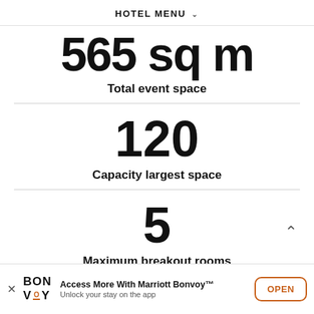HOTEL MENU ˅
565 sq m
Total event space
120
Capacity largest space
5
Maximum breakout rooms
Access More With Marriott Bonvoy™ Unlock your stay on the app